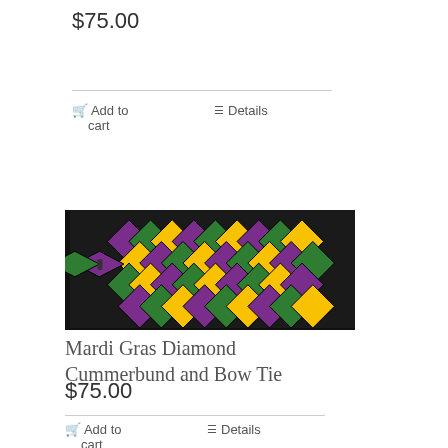$75.00
Add to cart
Details
[Figure (photo): Mardi Gras Diamond Cummerbund and Bow Tie product photo — colorful purple, green, and gold diamond pattern fabric folded in a black box]
Mardi Gras Diamond Cummerbund and Bow Tie
$75.00
Add to cart
Details